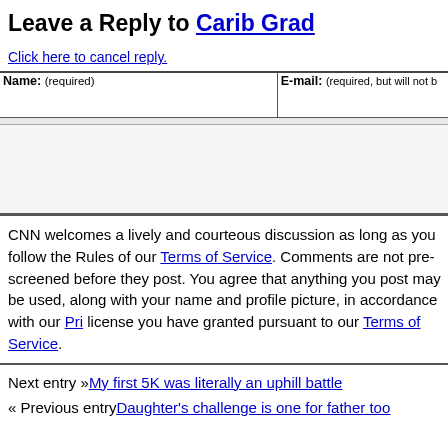Leave a Reply to Carib Grad
Click here to cancel reply.
| Name: (required) | E-mail: (required, but will not be published) |
| --- | --- |
|  |  |
CNN welcomes a lively and courteous discussion as long as you follow the Rules of our Terms of Service. Comments are not pre-screened before they post. You agree that anything you post may be used, along with your name and profile picture, in accordance with our Privacy Policy and the license you have granted pursuant to our Terms of Service.
Next entry »My first 5K was literally an uphill battle
« Previous entryDaughter's challenge is one for father too